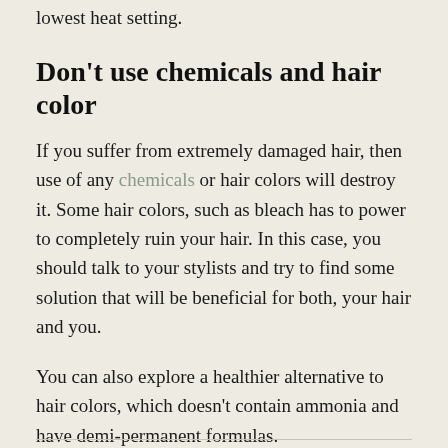lowest heat setting.
Don't use chemicals and hair color
If you suffer from extremely damaged hair, then use of any chemicals or hair colors will destroy it. Some hair colors, such as bleach has to power to completely ruin your hair. In this case, you should talk to your stylists and try to find some solution that will be beneficial for both, your hair and you.
You can also explore a healthier alternative to hair colors, which doesn't contain ammonia and have demi-permanent formulas.